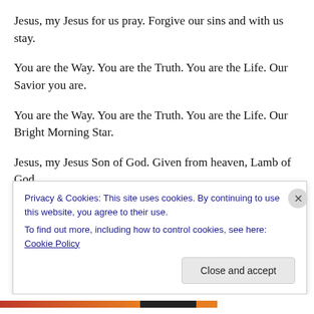Jesus, my Jesus for us pray. Forgive our sins and with us stay.
You are the Way. You are the Truth. You are the Life. Our Savior you are.
You are the Way. You are the Truth. You are the Life. Our Bright Morning Star.
Jesus, my Jesus Son of God. Given from heaven, Lamb of God.
Privacy & Cookies: This site uses cookies. By continuing to use this website, you agree to their use.
To find out more, including how to control cookies, see here: Cookie Policy
Close and accept